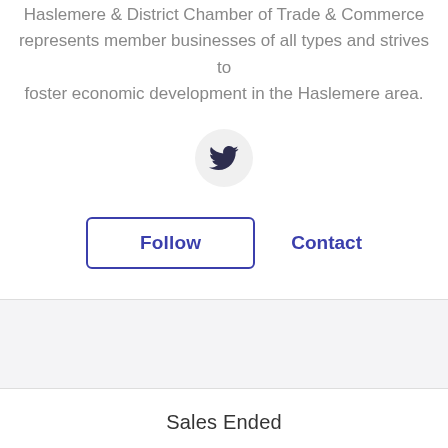Haslemere & District Chamber of Trade & Commerce represents member businesses of all types and strives to foster economic development in the Haslemere area.
[Figure (illustration): Twitter bird icon inside a light gray circle]
Follow   Contact
Sales Ended